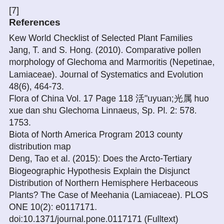[7]
References
Kew World Checklist of Selected Plant Families
Jang, T. and S. Hong. (2010). Comparative pollen morphology of Glechoma and Marmoritis (Nepetinae, Lamiaceae). Journal of Systematics and Evolution 48(6), 464-73.
Flora of China Vol. 17 Page 118 活血丹属 huo xue dan shu Glechoma Linnaeus, Sp. Pl. 2: 578. 1753.
Biota of North America Program 2013 county distribution map
Deng, Tao et al. (2015): Does the Arcto-Tertiary Biogeographic Hypothesis Explain the Disjunct Distribution of Northern Hemisphere Herbaceous Plants? The Case of Meehania (Lamiaceae). PLOS ONE 10(2): e0117171. doi:10.1371/journal.pone.0117171 (Fulltext)
"Glechoma hederacea, Ground-ivy: